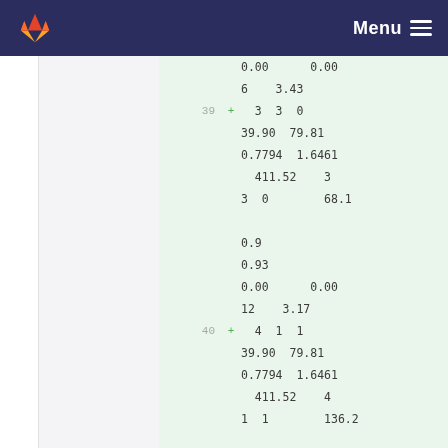Menu
0.00      0.00
6    3.43
39  +   3  3  0
        39.90  79.81
        0.7794  1.6461
          411.52    3
        3  0        68.1

        0.9
        0.93
        0.00      0.00
        12    3.17
40  +   4  1  1
        39.90  79.81
        0.7794  1.6461
          411.52    4
        1  1        136.2

        0.9
        0.93
        0.00      0.00